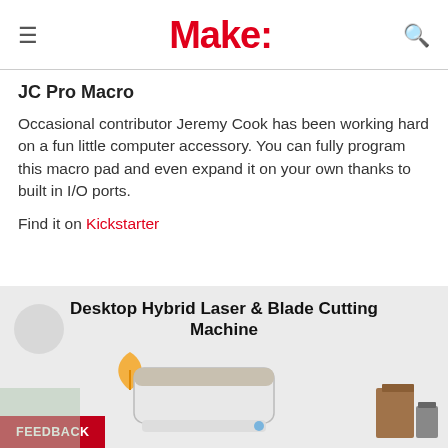Make:
JC Pro Macro
Occasional contributor Jeremy Cook has been working hard on a fun little computer accessory. You can fully program this macro pad and even expand it on your own thanks to built in I/O ports.
Find it on Kickstarter
[Figure (photo): Advertisement banner for a Desktop Hybrid Laser & Blade Cutting Machine, showing the machine in a light gray background with an orange leaf logo and brown box accessories. A red FEEDBACK button overlays the bottom left corner.]